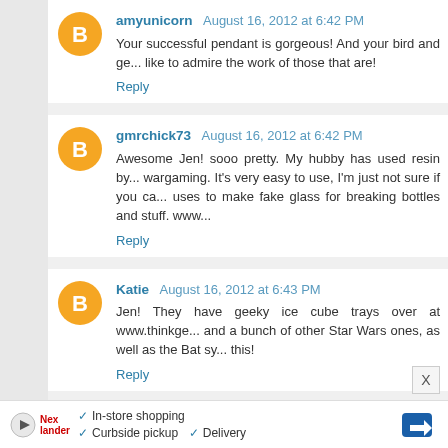amyunicorn August 16, 2012 at 6:42 PM
Your successful pendant is gorgeous! And your bird and ge... like to admire the work of those that are!
Reply
gmrchick73 August 16, 2012 at 6:42 PM
Awesome Jen! sooo pretty. My hubby has used resin by... wargaming. It's very easy to use, I'm just not sure if you ca... uses to make fake glass for breaking bottles and stuff. www...
Reply
Katie August 16, 2012 at 6:43 PM
Jen! They have geeky ice cube trays over at www.thinkge... and a bunch of other Star Wars ones, as well as the Bat sy... this!
Reply
gmrchick73 August 16, 2012 at 6:44 PM
✓ In-store shopping  ✓ Curbside pickup  ✓ Delivery